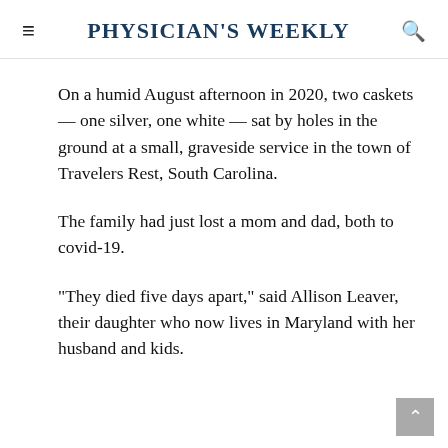Physician's Weekly
On a humid August afternoon in 2020, two caskets — one silver, one white — sat by holes in the ground at a small, graveside service in the town of Travelers Rest, South Carolina.
The family had just lost a mom and dad, both to covid-19.
“They died five days apart,” said Allison Leaver, their daughter who now lives in Maryland with her husband and kids.